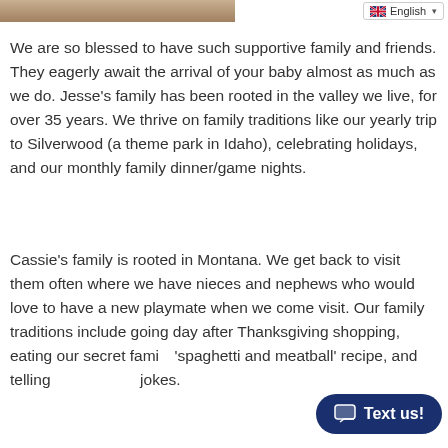[Figure (photo): Partial photo strip visible at top left of page, showing sandy/earthy tones]
English (language selector dropdown with UK flag)
We are so blessed to have such supportive family and friends. They eagerly await the arrival of your baby almost as much as we do. Jesse's family has been rooted in the valley we live, for over 35 years. We thrive on family traditions like our yearly trip to Silverwood (a theme park in Idaho), celebrating holidays, and our monthly family dinner/game nights.
Cassie's family is rooted in Montana. We get back to visit them often where we have nieces and nephews who would love to have a new playmate when we come visit. Our family traditions include going day after Thanksgiving shopping, eating our secret family 'spaghetti and meatball' recipe, and telling jokes.